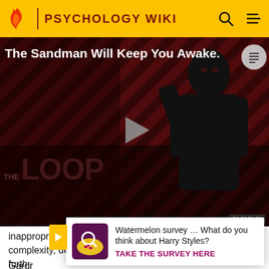PSYCHOLOGY WIKI
[Figure (screenshot): Video player showing 'The Sandman Will Keep You Awake.' with a dark figure against red diagonal stripes background, THE LOOP branding, play button, and NaN:NaN timestamp. Part of Psychology Wiki website.]
inappropriate and unnecessary realms of theory and complexity, deflecting them from their proper task." No furth... asse... al.
[Figure (infographic): Popup banner: Watermelon survey icon with text 'Watermelon survey … What do you think about Harry Styles?' and CTA 'TAKE THE SURVEY HERE']
Gardr...